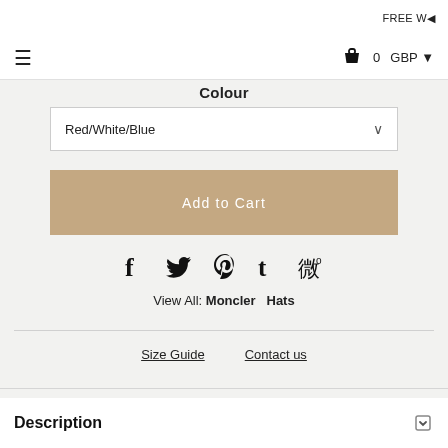FREE W
☰   🛍 0   GBP ▾
Colour
Red/White/Blue
Add to Cart
[Figure (other): Social media share icons: Facebook, Twitter, Pinterest, Tumblr, Weibo]
View All: Moncler   Hats
Size Guide   Contact us
Description